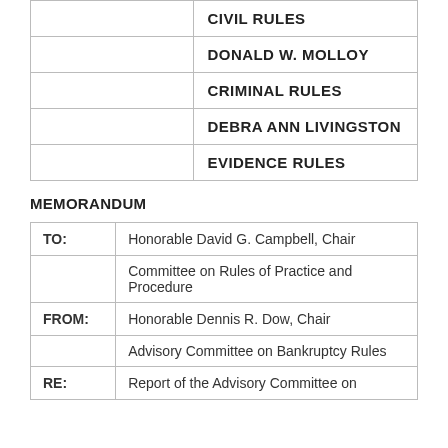|  |  |
| --- | --- |
|  | CIVIL RULES |
|  | DONALD W. MOLLOY |
|  | CRIMINAL RULES |
|  | DEBRA ANN LIVINGSTON |
|  | EVIDENCE RULES |
MEMORANDUM
| TO: | Honorable David G. Campbell, Chair |
|  | Committee on Rules of Practice and Procedure |
| FROM: | Honorable Dennis R. Dow, Chair |
|  | Advisory Committee on Bankruptcy Rules |
| RE: | Report of the Advisory Committee on |